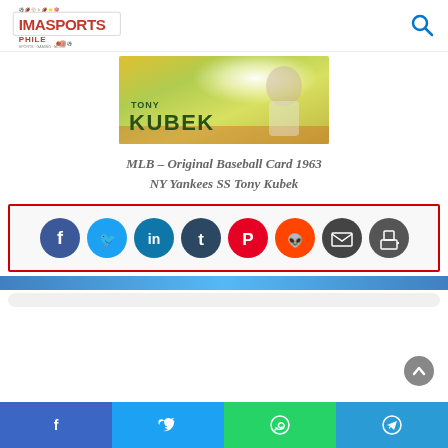IMASPORTSPHILE
[Figure (photo): Baseball card showing Tony Kubek – a 1963 MLB baseball card for NY Yankees SS Tony Kubek with yellow-green background and player silhouette]
MLB – Original Baseball Card 1963 NY Yankees SS Tony Kubek
[Figure (infographic): Social share buttons row: Facebook (blue), Twitter (light blue), LinkedIn (dark blue), Tumblr (navy), Pinterest (red), Reddit (orange-red), Email (dark gray), Print (dark gray)]
[Figure (infographic): Bottom mobile share bar with Facebook, Twitter, WhatsApp, and Telegram buttons]